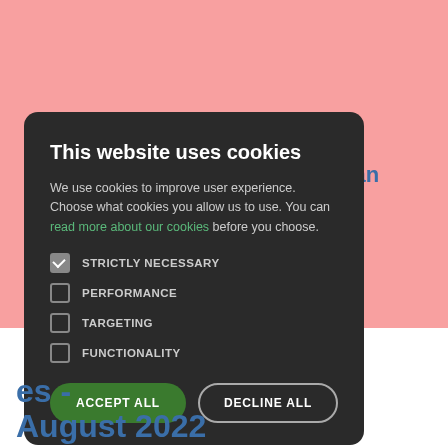[Figure (screenshot): Cookie consent modal overlay on a website with pink background. Background shows partial blue text 'to book an', 'rmation.', 'splease', 'k/appointme', and 'es - August 2022'. Modal is dark with title, body text, checkboxes, and two buttons.]
This website uses cookies
We use cookies to improve user experience. Choose what cookies you allow us to use. You can read more about our cookies before you choose.
STRICTLY NECESSARY
PERFORMANCE
TARGETING
FUNCTIONALITY
ACCEPT ALL
DECLINE ALL